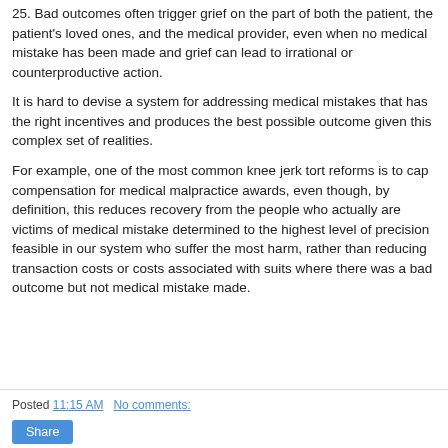25. Bad outcomes often trigger grief on the part of both the patient, the patient's loved ones, and the medical provider, even when no medical mistake has been made and grief can lead to irrational or counterproductive action.
It is hard to devise a system for addressing medical mistakes that has the right incentives and produces the best possible outcome given this complex set of realities.
For example, one of the most common knee jerk tort reforms is to cap compensation for medical malpractice awards, even though, by definition, this reduces recovery from the people who actually are victims of medical mistake determined to the highest level of precision feasible in our system who suffer the most harm, rather than reducing transaction costs or costs associated with suits where there was a bad outcome but not medical mistake made.
Posted 11:15 AM   No comments:   Share